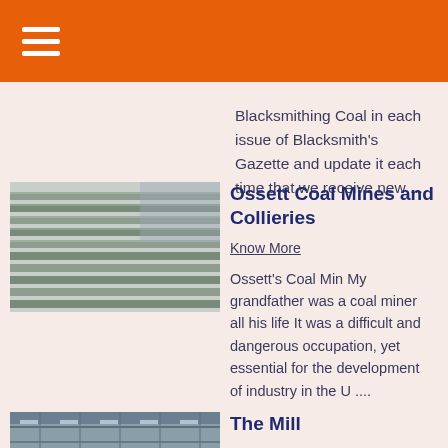Blacksmithing Coal in each issue of Blacksmith's Gazette and update it each time that we receive new ....
[Figure (photo): Stacked metal bars or rails in an industrial warehouse setting]
Ossett Coal Mines and Collieries
Know More
Ossett's Coal Min My grandfather was a coal miner all his life It was a difficult and dangerous occupation, yet essential for the development of industry in the U ....
[Figure (photo): Interior of an industrial mill or warehouse with roof structure visible]
The Mill